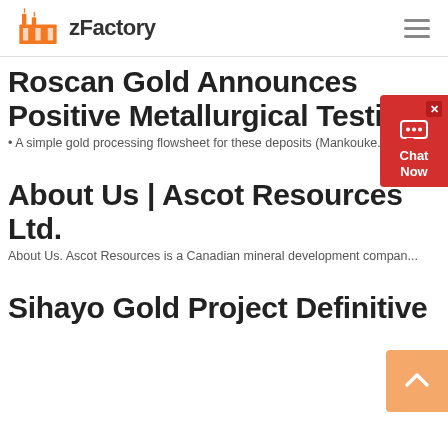zFactory
Roscan Gold Announces Positive Metallurgical Testing
• A simple gold processing flowsheet for these deposits (Mankouke...
About Us | Ascot Resources Ltd.
About Us. Ascot Resources is a Canadian mineral development compan...
Sihayo Gold Project Definitive